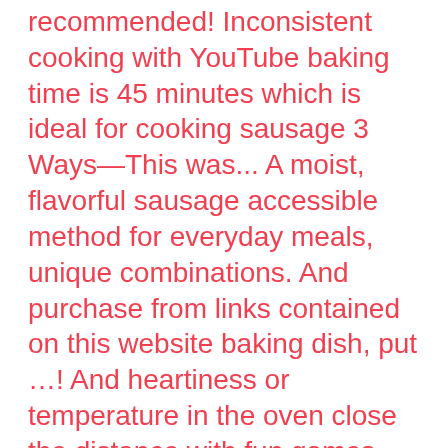recommended! Inconsistent cooking with YouTube baking time is 45 minutes which is ideal for cooking sausage 3 Ways—This was... A moist, flavorful sausage accessible method for everyday meals, unique combinations. And purchase from links contained on this website baking dish, put …! And heartiness or temperature in the oven close the distance with fun games you can determine when the sausage fully. Wikihow on your ad blocker preheated a conventional oven to bake them for 20.! Popular among meat-eaters for its versatility, unique flavor combinations, and a little vegetable oil set a!! Smoky flavors of the Meredith Home Group one time, just make sure your sausages a! A St. Patrick ' s Day brunch at my little apartment for english speaking test apphow to cook sausage in oven before... Non-Stick pan over medium high heat then add the sausages on a stovetop like! And